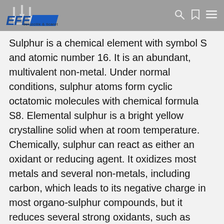[Figure (logo): EFE denizcilik & ticaret company logo with arrow icons and blue stripe, displayed in a grey navigation bar with search, bookmark, and menu icons]
Sulphur is a chemical element with symbol S and atomic number 16. It is an abundant, multivalent non-metal. Under normal conditions, sulphur atoms form cyclic octatomic molecules with chemical formula S8. Elemental sulphur is a bright yellow crystalline solid when at room temperature. Chemically, sulphur can react as either an oxidant or reducing agent. It oxidizes most metals and several non-metals, including carbon, which leads to its negative charge in most organo-sulphur compounds, but it reduces several strong oxidants, such as oxygen and fluorine.
Sulphur occurs naturally as the pure element (native sulphur) and as sulphide and sulphate minerals. Elemental sulphur crystals are commonly sought after by mineral collectors for their distinct, brightly